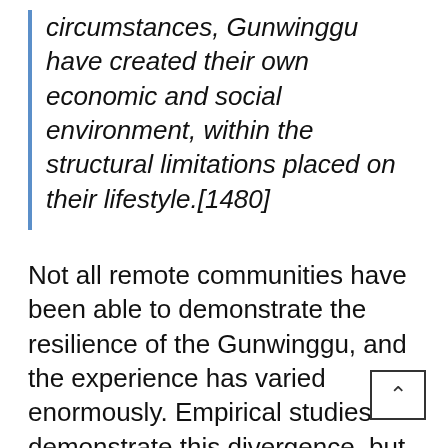circumstances, Gunwinggu have created their own economic and social environment, within the structural limitations placed on their lifestyle.[1480]
Not all remote communities have been able to demonstrate the resilience of the Gunwinggu, and the experience has varied enormously. Empirical studies demonstrate this divergence, but also show how traditional hunting and fishing remain important to many Aboriginal groups.[1481]